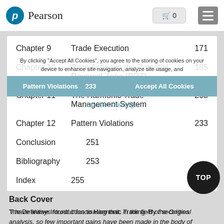[Figure (screenshot): Pearson website navigation bar with logo, cart icon showing 0, and hamburger menu button]
Chapter 9   Trade Execution   171
Chapter 10   Price Action in the Potential Reversal Zone (PRZ)   185
Chapter 11   The Harmonic Trade Management System   203
Chapter 12   Pattern Violations   233
Conclusion   251
Bibliography   253
Index   255
[Figure (screenshot): Cookie consent overlay with message about storing cookies, Decline/Accept All Cookies buttons, and Cookies Settings link]
Back Cover
The Definitive Introduction to Harmonic Trading–By the Original Creator of This Approach, Scott Carney!
“I have always found it fascinating that, in the field of securities analysis, so few important gains have been made in the body of knowledge since